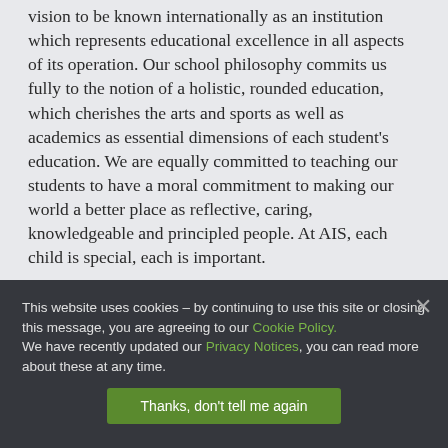vision to be known internationally as an institution which represents educational excellence in all aspects of its operation. Our school philosophy commits us fully to the notion of a holistic, rounded education, which cherishes the arts and sports as well as academics as essential dimensions of each student's education. We are equally committed to teaching our students to have a moral commitment to making our world a better place as reflective, caring, knowledgeable and principled people. At AIS, each child is special, each is important.
This website uses cookies – by continuing to use this site or closing this message, you are agreeing to our Cookie Policy. We have recently updated our Privacy Notices, you can read more about these at any time.
Thanks, don't tell me again